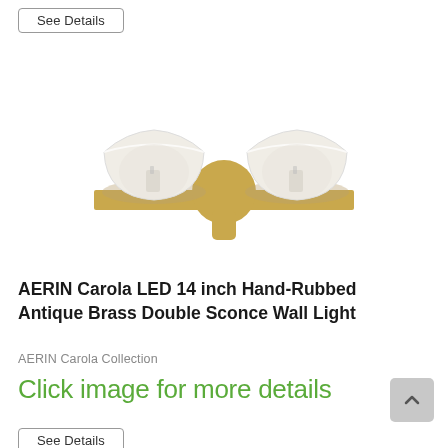See Details
[Figure (photo): A double wall sconce light fixture featuring two frosted white glass bowls on a hand-rubbed antique brass finish bar, with a circular brass mounting plate in the center.]
AERIN Carola LED 14 inch Hand-Rubbed Antique Brass Double Sconce Wall Light
AERIN Carola Collection
Click image for more details
See Details